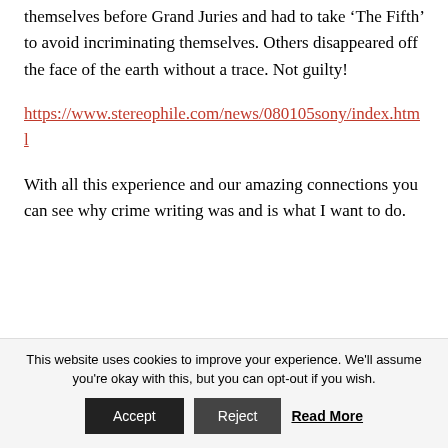themselves before Grand Juries and had to take ‘The Fifth’ to avoid incriminating themselves. Others disappeared off the face of the earth without a trace. Not guilty!
https://www.stereophile.com/news/080105sony/index.html
With all this experience and our amazing connections you can see why crime writing was and is what I want to do.
This website uses cookies to improve your experience. We'll assume you're okay with this, but you can opt-out if you wish.